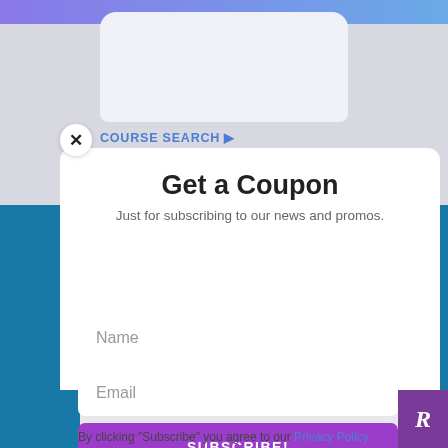[Figure (screenshot): Website screenshot showing a modal popup with 'Get a Coupon' subscription form, with course search header, teal side bars, name/email input fields, purple subscribe button, and privacy policy text]
COURSE SEARCH ▶
Get a Coupon
Just for subscribing to our news and promos.
Name
Email
SUBSCRIBE!
By clicking "Subscribe" you agree to our Privacy Policy.